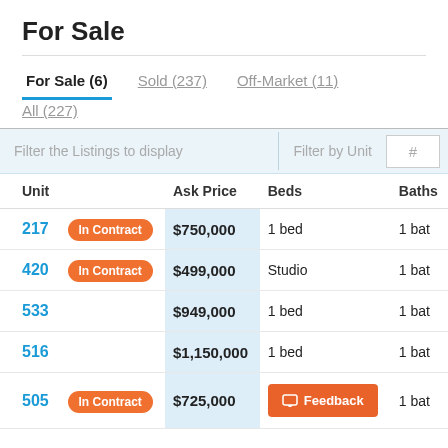For Sale
For Sale (6) | Sold (237) | Off-Market (11) | All (227)
| Unit |  | Ask Price | Beds | Baths |
| --- | --- | --- | --- | --- |
| 217 | In Contract | $750,000 | 1 bed | 1 bat |
| 420 | In Contract | $499,000 | Studio | 1 bat |
| 533 |  | $949,000 | 1 bed | 1 bat |
| 516 |  | $1,150,000 | 1 bed | 1 bat |
| 505 | In Contract | $725,000 |  | 1 bat |